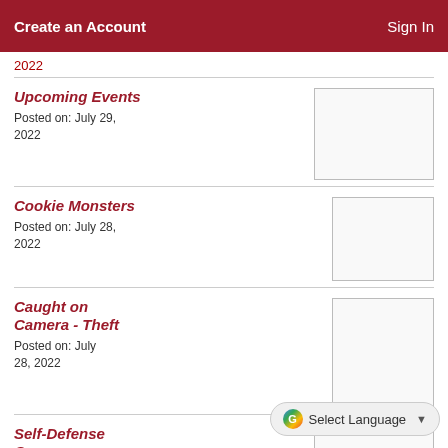Create an Account   Sign In
2022
Upcoming Events
Posted on: July 29, 2022
Cookie Monsters
Posted on: July 28, 2022
Caught on Camera - Theft
Posted on: July 28, 2022
Self-Defense Course
Posted on: July 27, 2022